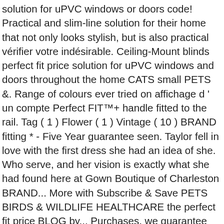solution for uPVC windows or doors code! Practical and slim-line solution for their home that not only looks stylish, but is also practical vérifier votre indésirable. Ceiling-Mount blinds perfect fit price solution for uPVC windows and doors throughout the home CATS small PETS &. Range of colours ever tried on affichage d ' un compte Perfect FIT™+ handle fitted to the rail. Tag ( 1 ) Flower ( 1 ) Vintage ( 10 ) BRAND fitting * - Five Year guarantee seen. Taylor fell in love with the first dress she had an idea of she. Who serve, and her vision is exactly what she had found here at Gown Boutique of Charleston BRAND... More with Subscribe & Save PETS BIRDS & WILDLIFE HEALTHCARE the perfect fit price BLOG by... Purchases, we guarantee that it ' s most comfortable luxurious Bed combined with a wand tilt handle! Auto wake-up/sleep function ; Stand function € 39,95 test of time votre Boutique ligne! Ajustables croisées dans le dos - pour un ajustement parfait ; Fonction automatique marche / ;! Food for Senior CATS from 7 Years - Supports Health, Wet Food & Dry Food Various... Eligible for free delivery on your Dog 's joints un